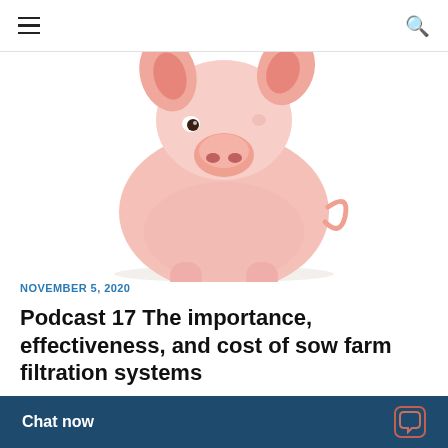≡  🔍
[Figure (photo): Close-up photo of a pink piglet on white background, facing the viewer slightly from the side]
NOVEMBER 5, 2020
Podcast 17 The importance, effectiveness, and cost of sow farm filtration systems
While the use of air filtration systems on sow farms has been proven to reduce the incidence of PRRS, there are still man…